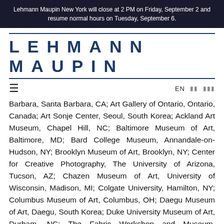Lehmann Maupin New York will close at 2 PM on Friday, September 2 and resume normal hours on Tuesday, September 6.
LEHMANN MAUPIN
EN 한국어 中文
Barbara, Santa Barbara, CA; Art Gallery of Ontario, Ontario, Canada; Art Sonje Center, Seoul, South Korea; Ackland Art Museum, Chapel Hill, NC; Baltimore Museum of Art, Baltimore, MD; Bard College Museum, Annandale-on-Hudson, NY; Brooklyn Museum of Art, Brooklyn, NY; Center for Creative Photography, The University of Arizona, Tucson, AZ; Chazen Museum of Art, University of Wisconsin, Madison, MI; Colgate University, Hamilton, NY; Columbus Museum of Art, Columbus, OH; Daegu Museum of Art, Daegu, South Korea; Duke University Museum of Art, Durham, NC; The Fabric Workshop and Museum, Philadelphia, PA; FENIX Museum of Migration, Rotterdam, Netherlands; Frances Lehman Loeb Art Center, Vassar College, Poughkeepsie,